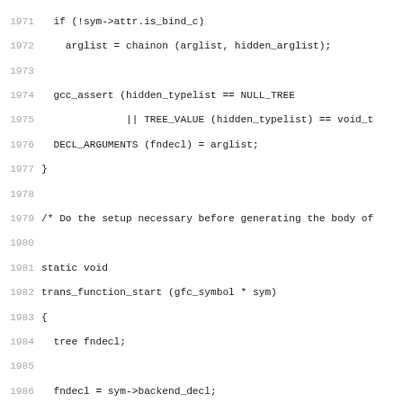Source code listing lines 1971-2002 showing C function trans_function_start implementation